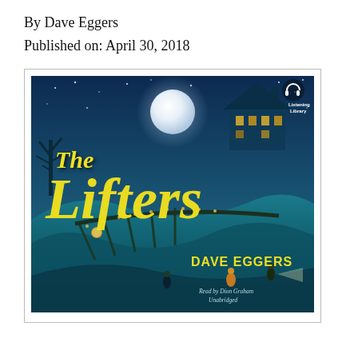By Dave Eggers
Published on: April 30, 2018
[Figure (photo): Book cover of 'The Lifters' by Dave Eggers, published by Listening Library. The cover shows a dark teal/blue nighttime scene with a full moon, a haunted-looking house, children running through a landscape with a bridge or wooden structure, and a bare tree. The title 'The Lifters' is written in large yellow italic font, with 'Dave Eggers' in yellow below. The bottom reads 'Read by Dion Graham, Unabridged'. A Listening Library badge with headphones icon appears in the top right corner.]